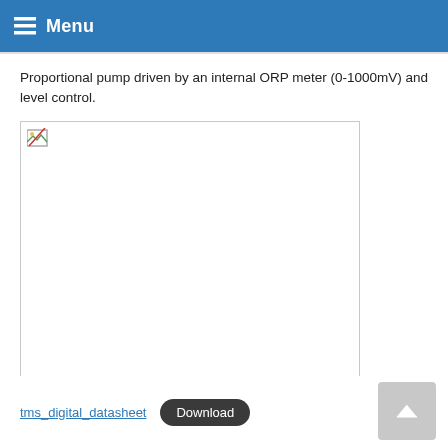Menu
Proportional pump driven by an internal ORP meter (0-1000mV) and level control.
[Figure (photo): Broken/missing image placeholder showing a small broken image icon in the top-left corner of a white bordered rectangle]
tms_digital_datasheet  Download